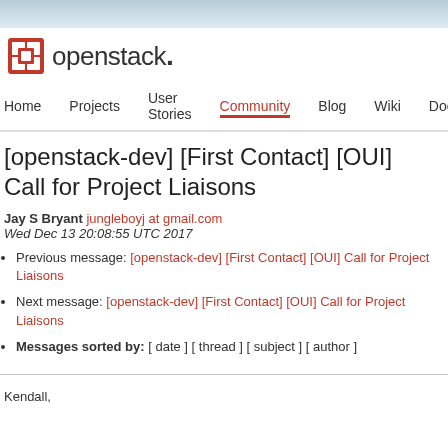[Figure (logo): OpenStack logo with red cube icon and openstack. wordmark]
Home   Projects   User Stories   Community   Blog   Wiki   Docum
[openstack-dev] [First Contact] [OUI] Call for Project Liaisons
Jay S Bryant jungleboyj at gmail.com
Wed Dec 13 20:08:55 UTC 2017
Previous message: [openstack-dev] [First Contact] [OUI] Call for Project Liaisons
Next message: [openstack-dev] [First Contact] [OUI] Call for Project Liaisons
Messages sorted by: [ date ] [ thread ] [ subject ] [ author ]
Kendall,